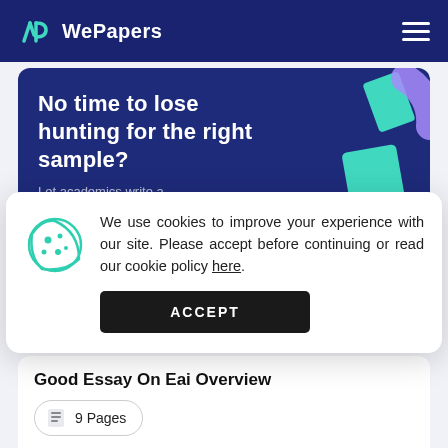WePapers
[Figure (screenshot): WePapers website banner with text 'No time to lose hunting for the right sample?' and decorative geometric shapes in teal and purple on dark navy background]
We use cookies to improve your experience with our site. Please accept before continuing or read our cookie policy here.
ACCEPT
Good Essay On Eai Overview
9 Pages